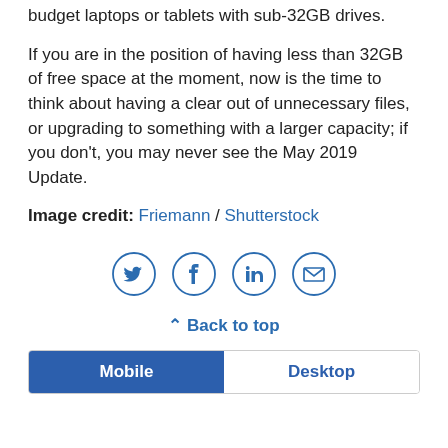budget laptops or tablets with sub-32GB drives.
If you are in the position of having less than 32GB of free space at the moment, now is the time to think about having a clear out of unnecessary files, or upgrading to something with a larger capacity; if you don't, you may never see the May 2019 Update.
Image credit: Friemann / Shutterstock
[Figure (infographic): Four social sharing icons in circles: Twitter (bird), Facebook (f), LinkedIn (in), Email (envelope)]
^ Back to top
Mobile | Desktop tab switcher